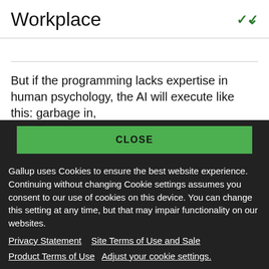Workplace
But if the programming lacks expertise in human psychology, the AI will execute like this: garbage in,
CLOSE
Gallup uses Cookies to ensure the best website experience. Continuing without changing Cookie settings assumes you consent to our use of cookies on this device. You can change this setting at any time, but that may impair functionality on our websites.
Privacy Statement   Site Terms of Use and Sale
Product Terms of Use   Adjust your cookie settings.